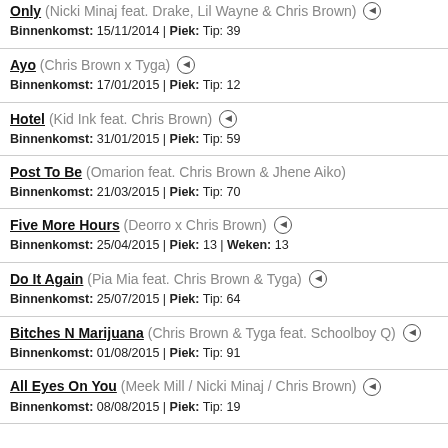Only (Nicki Minaj feat. Drake, Lil Wayne & Chris Brown) [play] Binnenkomst: 15/11/2014 | Piek: Tip: 39
Ayo (Chris Brown x Tyga) [play] Binnenkomst: 17/01/2015 | Piek: Tip: 12
Hotel (Kid Ink feat. Chris Brown) [play] Binnenkomst: 31/01/2015 | Piek: Tip: 59
Post To Be (Omarion feat. Chris Brown & Jhene Aiko) Binnenkomst: 21/03/2015 | Piek: Tip: 70
Five More Hours (Deorro x Chris Brown) [play] Binnenkomst: 25/04/2015 | Piek: 13 | Weken: 13
Do It Again (Pia Mia feat. Chris Brown & Tyga) [play] Binnenkomst: 25/07/2015 | Piek: Tip: 64
Bitches N Marijuana (Chris Brown & Tyga feat. Schoolboy Q) [play] Binnenkomst: 01/08/2015 | Piek: Tip: 91
All Eyes On You (Meek Mill / Nicki Minaj / Chris Brown) [play] Binnenkomst: 08/08/2015 | Piek: Tip: 19